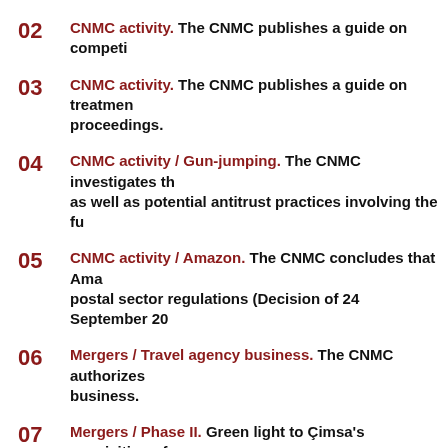02  CNMC activity.  The CNMC publishes a guide on competi...
03  CNMC activity.  The CNMC publishes a guide on treatment of confidential information in competition proceedings.
04  CNMC activity / Gun-jumping.  The CNMC investigates th... as well as potential antitrust practices involving the fu...
05  CNMC activity / Amazon.  The CNMC concludes that Ama... postal sector regulations (Decision of 24 September 20...
06  Mergers / Travel agency business.  The CNMC authorizes... business.
07  Mergers / Phase II.  Green light to Çimsa's acquisition of...
08  Restrictive agreements / Real estate intermediation ma... against seven firms for suspected price coordination in...
09  Restrictive agreements / Selective distribution.  The CN... connection with contractual provisions applied within... 6 February 2020. Adidas, file S/DC/0631(18).